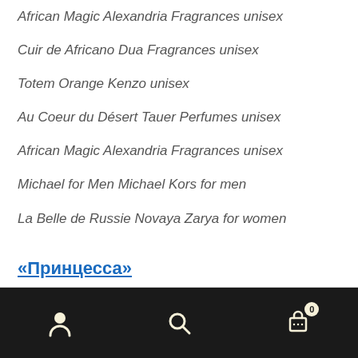African Magic Alexandria Fragrances unisex
Cuir de Africano Dua Fragrances unisex
Totem Orange Kenzo unisex
Au Coeur du Désert Tauer Perfumes unisex
African Magic Alexandria Fragrances unisex
Michael for Men Michael Kors for men
La Belle de Russie Novaya Zarya for women
«Принцесса»
Вам стоит Попробовать «Принцессу», если Вас вдохновляют такие Ароматы, как:
Vanille Noire Yves Rocher
Mise en Dior Gold Couture...